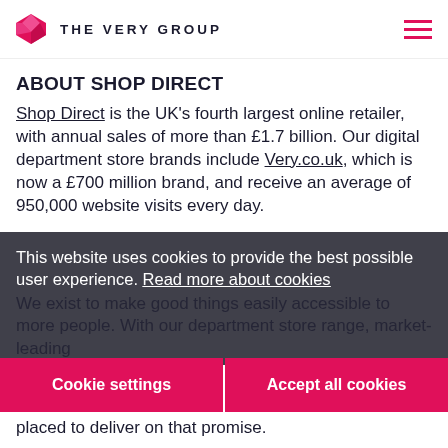THE VERY GROUP
ABOUT SHOP DIRECT
Shop Direct is the UK's fourth largest online retailer, with annual sales of more than £1.7 billion. Our digital department store brands include Very.co.uk, which is now a £700 million brand, and receive an average of 950,000 website visits every day.
This website uses cookies to provide the best possible user experience. Read more about cookies
We exist to make good things easily accessible to more people. With our department store range, market-leading
Cookie settings
Accept all cookies
placed to deliver on that promise.